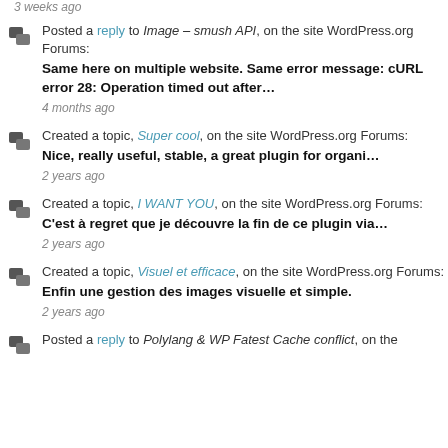3 weeks ago
Posted a reply to Image – smush API, on the site WordPress.org Forums:
Same here on multiple website. Same error message: cURL error 28: Operation timed out after…
4 months ago
Created a topic, Super cool, on the site WordPress.org Forums:
Nice, really useful, stable, a great plugin for organi…
2 years ago
Created a topic, I WANT YOU, on the site WordPress.org Forums:
C'est à regret que je découvre la fin de ce plugin via…
2 years ago
Created a topic, Visuel et efficace, on the site WordPress.org Forums:
Enfin une gestion des images visuelle et simple.
2 years ago
Posted a reply to Polylang & WP Fatest Cache conflict, on the